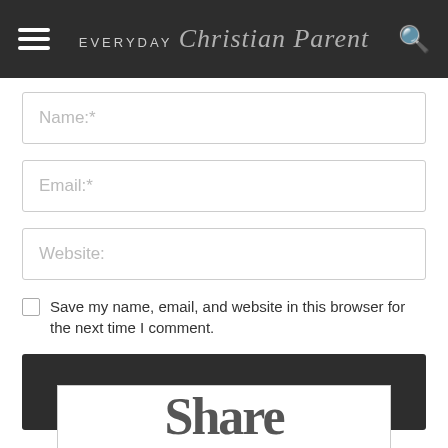EVERYDAY Christian Parent
Name:*
Email:*
Website:
Save my name, email, and website in this browser for the next time I comment.
POST COMMENT
[Figure (screenshot): Partial view of a 'Share' section heading at the bottom of the page]